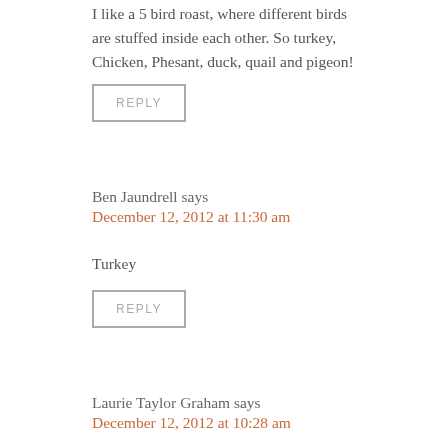I like a 5 bird roast, where different birds are stuffed inside each other. So turkey, Chicken, Phesant, duck, quail and pigeon!
REPLY
Ben Jaundrell says
December 12, 2012 at 11:30 am
Turkey
REPLY
Laurie Taylor Graham says
December 12, 2012 at 10:28 am